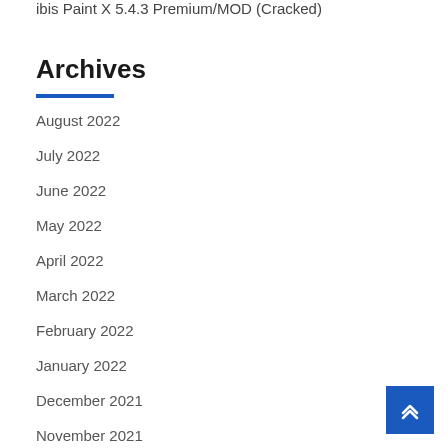ibis Paint X 5.4.3 Premium/MOD (Cracked)
Archives
August 2022
July 2022
June 2022
May 2022
April 2022
March 2022
February 2022
January 2022
December 2021
November 2021